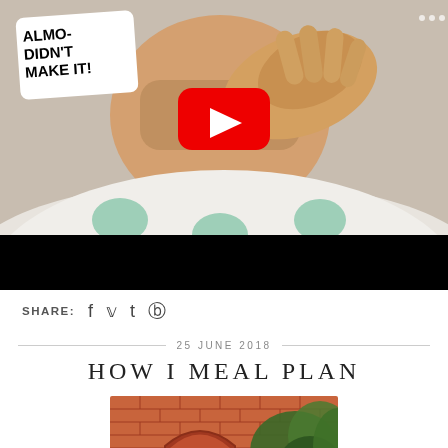[Figure (screenshot): YouTube video thumbnail showing a person lying down appearing unwell with text overlay 'ALMOST DIDN'T MAKE IT!' and a YouTube play button in the center, with a black bar at the bottom]
SHARE: f y t ⊕
25 JUNE 2018
HOW I MEAL PLAN
[Figure (photo): Brick wall with an arched gate/doorway and green ferns/plants growing to the right side]